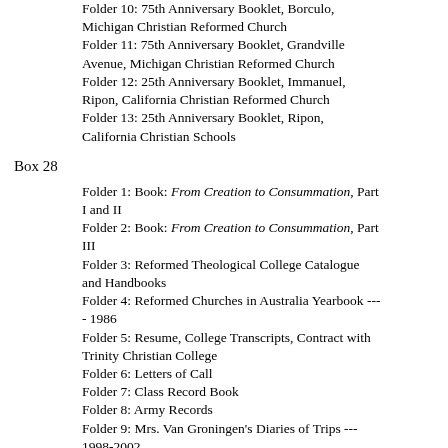Folder 10: 75th Anniversary Booklet, Borculo, Michigan Christian Reformed Church
Folder 11: 75th Anniversary Booklet, Grandville Avenue, Michigan Christian Reformed Church
Folder 12: 25th Anniversary Booklet, Immanuel, Ripon, California Christian Reformed Church
Folder 13: 25th Anniversary Booklet, Ripon, California Christian Schools
Box 28
Folder 1: Book: From Creation to Consummation, Part I and II
Folder 2: Book: From Creation to Consummation, Part III
Folder 3: Reformed Theological College Catalogue and Handbooks
Folder 4: Reformed Churches in Australia Yearbook --- 1986
Folder 5: Resume, College Transcripts, Contract with Trinity Christian College
Folder 6: Letters of Call
Folder 7: Class Record Book
Folder 8: Army Records
Folder 9: Mrs. Van Groningen's Diaries of Trips --- 1998-2002